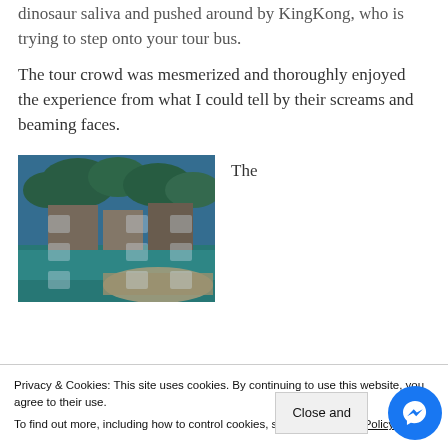minute of this spectacle getting splashed with dinosaur saliva and pushed around by KingKong, who is trying to step onto your tour bus.
The tour crowd was mesmerized and thoroughly enjoyed the experience from what I could tell by their screams and beaming faces.
[Figure (photo): Outdoor scene showing water, green lawn, and structures, appears to be a theme park or marina area with blue-tinted filter.]
The
Privacy & Cookies: This site uses cookies. By continuing to use this website, you agree to their use.
To find out more, including how to control cookies, see here: Privacy Policy